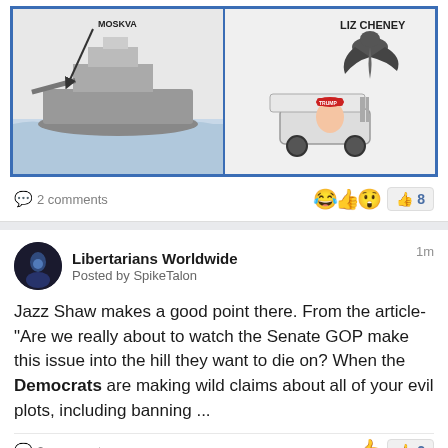[Figure (illustration): Two-panel political cartoon. Left panel shows a naval warship at sea with an arrow labeled something. Right panel shows text 'LIZ CHENEY' with a large bird figure above a person in a red MAGA cap riding a golf cart.]
2 comments
😂👍😲 8
Libertarians Worldwide
Posted by SpikeTalon
1m
Jazz Shaw makes a good point there. From the article- "Are we really about to watch the Senate GOP make this issue into the hill they want to die on? When the Democrats are making wild claims about all of your evil plots, including banning ...
2 comments